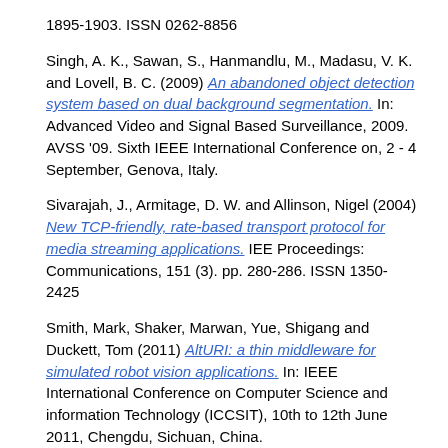1895-1903. ISSN 0262-8856
Singh, A. K., Sawan, S., Hanmandlu, M., Madasu, V. K. and Lovell, B. C. (2009) An abandoned object detection system based on dual background segmentation. In: Advanced Video and Signal Based Surveillance, 2009. AVSS '09. Sixth IEEE International Conference on, 2 - 4 September, Genova, Italy.
Sivarajah, J., Armitage, D. W. and Allinson, Nigel (2004) New TCP-friendly, rate-based transport protocol for media streaming applications. IEE Proceedings: Communications, 151 (3). pp. 280-286. ISSN 1350-2425
Smith, Mark, Shaker, Marwan, Yue, Shigang and Duckett, Tom (2011) AltURI: a thin middleware for simulated robot vision applications. In: IEEE International Conference on Computer Science and information Technology (ICCSIT), 10th to 12th June 2011, Chengdu, Sichuan, China.
Soltaninejad, Mohammadreza, Lambrou, Tryphon, Qureshi, Adnan, Allinson, Nigel and Ye, Xujiong (2014) A hybrid method for haemorrhage segmentation in trauma brain CT. In: MIUA 2014, 9th July 2014, Royal Holloway.
Soltaninejad, Mohammadreza, Ye, Xujiong, Yang, Guang, Allinson,